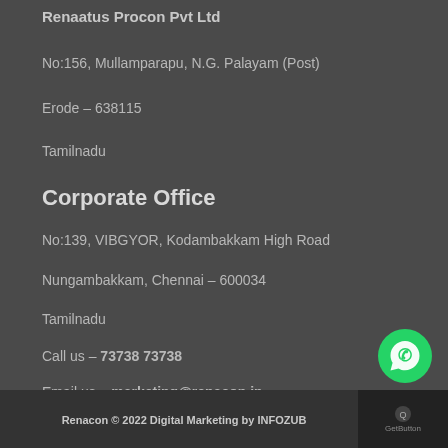Renaatus Procon Pvt Ltd
No:156, Mullamparapu, N.G. Palayam (Post)
Erode – 638115
Tamilnadu
Corporate Office
No:139, VIBGYOR, Kodambakkam High Road
Nungambakkam, Chennai – 600034
Tamilnadu
Call us – 73738 73738
Email us – marketing@renacon.in
Renacon © 2022 Digital Marketing by INFOZUB